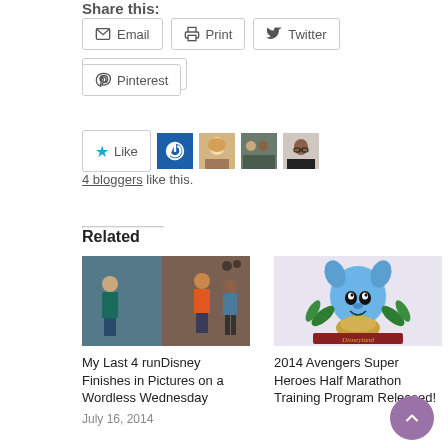Share this:
Email
Print
Twitter
Facebook
Pinterest
4 bloggers like this.
Related
My Last 4 runDisney Finishes in Pictures on a Wordless Wednesday
July 16, 2014
2014 Avengers Super Heroes Half Marathon Training Program Released!